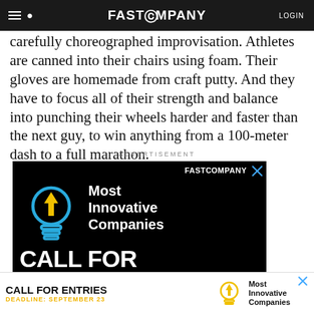FAST COMPANY  LOGIN
carefully choreographed improvisation. Athletes are canned into their chairs using foam. Their gloves are homemade from craft putty. And they have to focus all of their strength and balance into punching their wheels harder and faster than the next guy, to win anything from a 100-meter dash to a full marathon.
ADVERTISEMENT
[Figure (advertisement): Fast Company 'Most Innovative Companies — CALL FOR ENTRIES' black background advertisement with a light bulb icon featuring a yellow upward arrow and blue base, plus the Fast Company logo in white.]
[Figure (advertisement): Bottom banner ad: 'CALL FOR ENTRIES  DEADLINE: SEPTEMBER 23  Most Innovative Companies' with light bulb icon, on white background.]